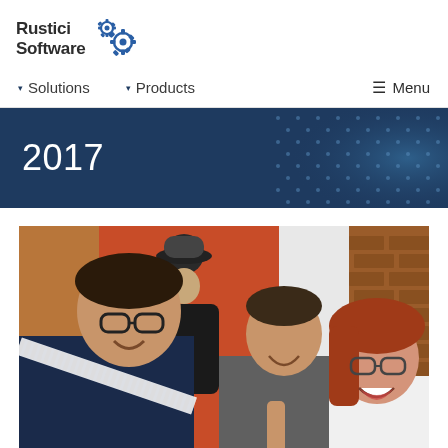[Figure (logo): Rustici Software logo with two interlocking gear icons]
▾ Solutions   ▾ Products   ☰ Menu
2017
[Figure (photo): Three smiling people at an event; man with glasses and sash on left, man in gray shirt in center, woman with red hair and glasses on right, with orange curtain and brick wall in background]